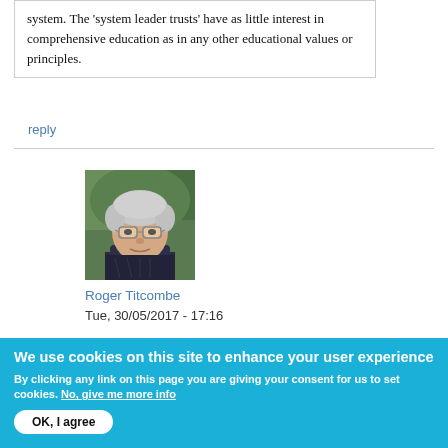system. The 'system leader trusts' have as little interest in comprehensive education as in any other educational values or principles.
reply
[Figure (photo): Headshot of Roger Titcombe, an older man with white hair and glasses, wearing a dark patterned shirt, outdoors with green foliage in background.]
Roger Titcombe
Tue, 30/05/2017 - 17:16
We use cookies on this site to enhance your user experience
By clicking any link on this page you are giving your consent for us to set cookies. No, give me more info
OK, I agree